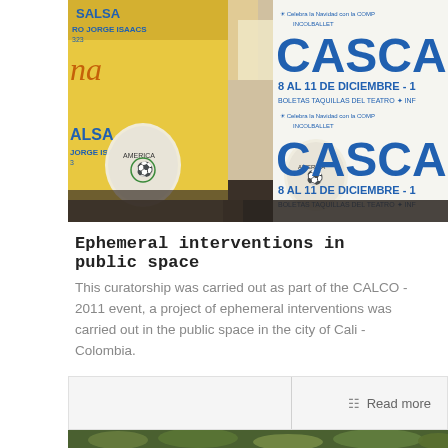[Figure (photo): Photograph of colorful overlapping posters on a wall in Cali, Colombia. Yellow posters on left with 'SALSA', 'JORGE ISAACS' text, América de Cali football club crests, and blue text on right reading 'CASCA', '8 AL 11 DE DICIEMBRE', 'BOLETAS TAQUILLAS DEL TEATRO', 'INF', 'Celebra la Navidad con la COMP INCOLBALLET' repeated twice.]
Ephemeral interventions in public space
This curatorship was carried out as part of the CALCO - 2011 event, a project of ephemeral interventions was carried out in the public space in the city of Cali - Colombia.
Read more
[Figure (photo): Photograph of green trees and vegetation on a hillside, partially visible at the bottom of the page.]